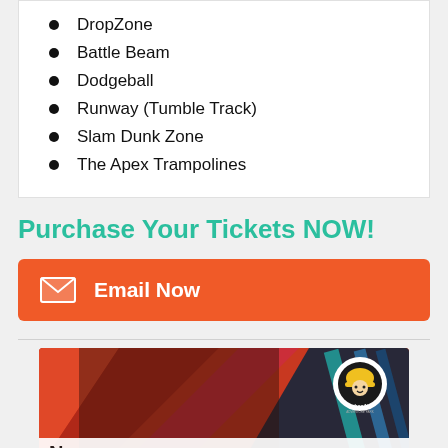DropZone
Battle Beam
Dodgeball
Runway (Tumble Track)
Slam Dunk Zone
The Apex Trampolines
Purchase Your Tickets NOW!
Email Now
[Figure (photo): Child blowing out birthday candles with Urban Air Adventure Park logo in upper right corner]